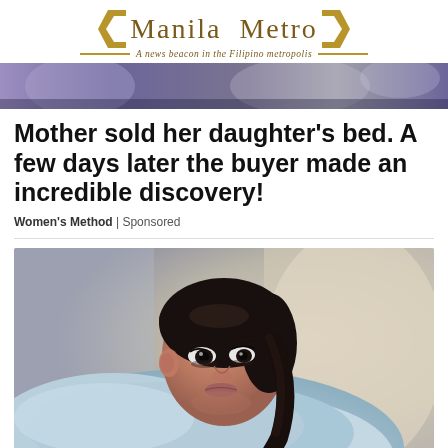Manila Metro — A news beacon in the Filipino metropolis
[Figure (photo): Hero banner strip showing blurred people in background]
Mother sold her daughter's bed. A few days later the buyer made an incredible discovery!
Women's Method | Sponsored
[Figure (photo): Young woman of Filipino/Asian descent with dark hair pulled back, resting her face on her arms folded in front of her, wearing a light blue fuzzy sweater, looking contemplatively at camera with blurred background]